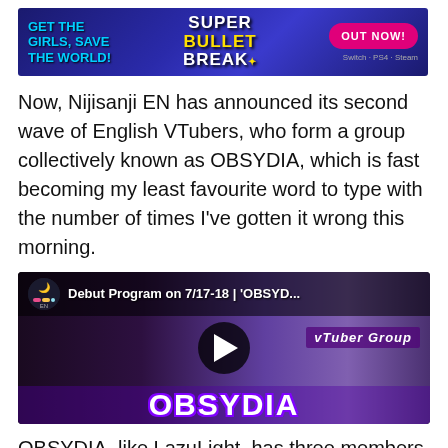[Figure (illustration): Advertisement banner for Super Bullet Break game with anime art, text 'GET THE GIRLS, SAVE THE WORLD!' on left, 'SUPER BULLET BREAK' in center, 'OUT NOW!' button on right, platform icons at bottom right]
Now, Nijisanji EN has announced its second wave of English VTubers, who form a group collectively known as OBSYDIA, which is fast becoming my least favourite word to type with the number of times I've gotten it wrong this morning.
[Figure (screenshot): YouTube video thumbnail showing 'Debut Program on 7/17-18 | 'OBSYD...' with anime characters including a pink-haired girl and purple-haired characters, OBSYDIA logo at bottom, Nijisanji EN channel icon, play button in center]
OBSYDIA, like LazuLight, has three members. Petra Gurin is a penguin, will proceed to be included here be-